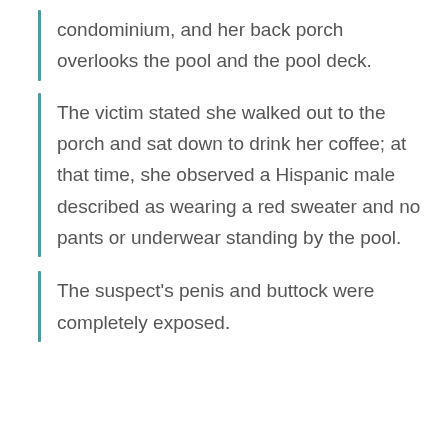condominium, and her back porch overlooks the pool and the pool deck.
The victim stated she walked out to the porch and sat down to drink her coffee; at that time, she observed a Hispanic male described as wearing a red sweater and no pants or underwear standing by the pool.
The suspect's penis and buttock were completely exposed.